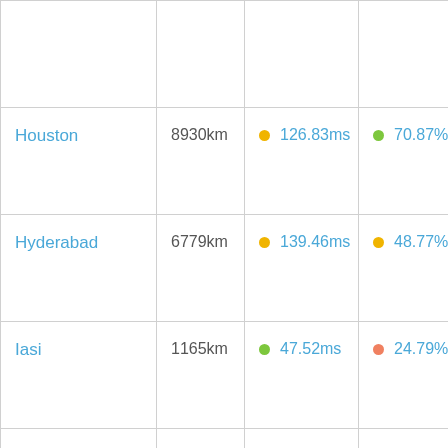| City | Distance | Latency | Uptime |
| --- | --- | --- | --- |
| Houston | 8930km | 126.83ms | 70.87% |
| Hyderabad | 6779km | 139.46ms | 48.77% |
| Iasi | 1165km | 47.52ms | 24.79% |
| Indianapolis | 7551km | 125.50ms | 60.41% |
| Indore | 6179km | 161.18ms | 38.38% |
|  |  |  |  |